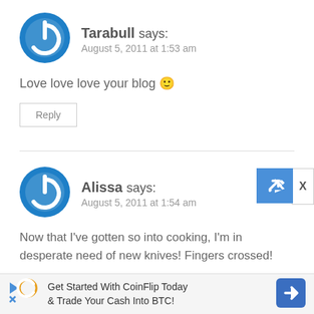[Figure (logo): Blue circular power button icon avatar for user Tarabull]
Tarabull says:
August 5, 2011 at 1:53 am
Love love love your blog 🙂
Reply
[Figure (logo): Blue circular power button icon avatar for user Alissa]
Alissa says:
August 5, 2011 at 1:54 am
Now that I've gotten so into cooking, I'm in desperate need of new knives! Fingers crossed!
Get Started With CoinFlip Today & Trade Your Cash Into BTC!